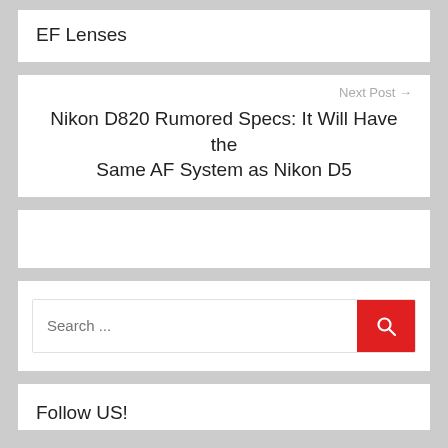EF Lenses
Next Post →
Nikon D820 Rumored Specs: It Will Have the Same AF System as Nikon D5
Search ...
Follow US!